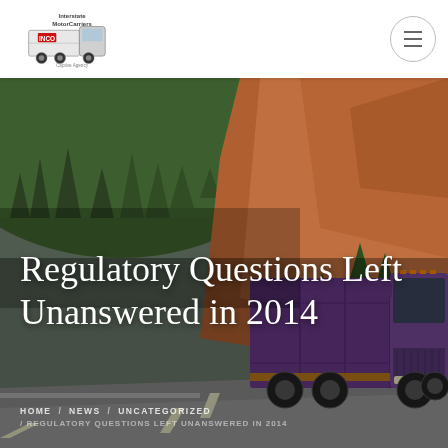INCO Interstate Motor Carriers Captive Agency — navigation header with logo and hamburger menu
[Figure (photo): A purple semi-truck driving on a highway through hilly terrain with forested hillsides and an orange/brown cut slope, used as a hero banner image]
Regulatory Questions Left Unanswered in 2014
HOME / NEWS / UNCATEGORIZED / REGULATORY QUESTIONS LEFT UNANSWERED IN 2014